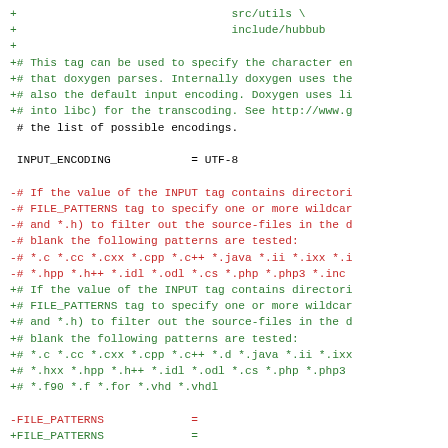Code diff showing changes to a Doxygen configuration file, including INPUT_ENCODING set to UTF-8, FILE_PATTERNS changes, and RECURSIVE tag comments.